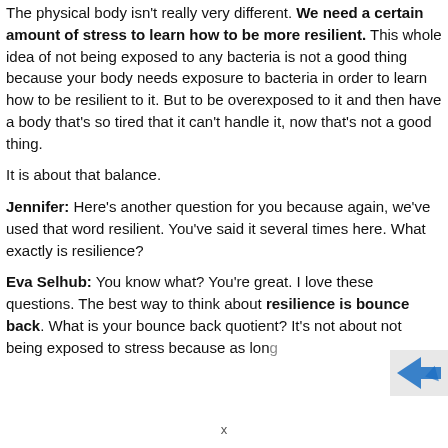The physical body isn't really very different. We need a certain amount of stress to learn how to be more resilient. This whole idea of not being exposed to any bacteria is not a good thing because your body needs exposure to bacteria in order to learn how to be resilient to it. But to be overexposed to it and then have a body that's so tired that it can't handle it, now that's not a good thing.
It is about that balance.
Jennifer: Here's another question for you because again, we've used that word resilient. You've said it several times here. What exactly is resilience?
Eva Selhub: You know what? You're great. I love these questions. The best way to think about resilience is bounce back. What is your bounce back quotient? It's not about not being exposed to stress because as long
[Figure (logo): Blue arrow logo watermark in bottom right corner]
x